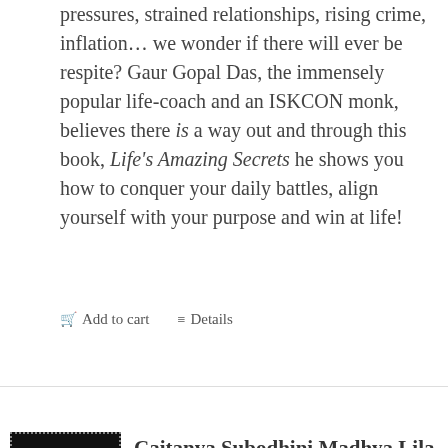pressures, strained relationships, rising crime, inflation… we wonder if there will ever be respite? Gaur Gopal Das, the immensely popular life-coach and an ISKCON monk, believes there is a way out and through this book, Life's Amazing Secrets he shows you how to conquer your daily battles, align yourself with your purpose and win at life!
Add to cart   Details
[Figure (photo): Book cover of Caitanya Subodhini with dark background and stylized text]
Caitanya Subodhini Madhya Lila